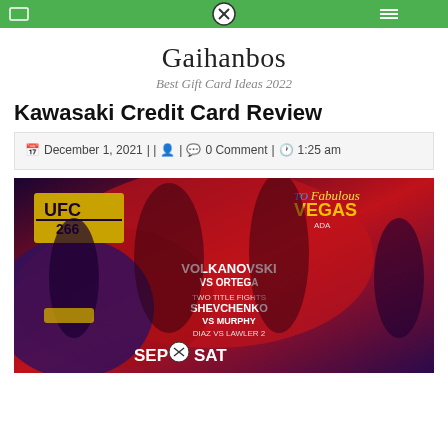Gaihanbos navigation bar with green background and close icon
Gaihanbos
Best Gift Card Ideas 2022
Kawasaki Credit Card Review
December 1, 2021 | | | 0 Comment | 1:25 am
[Figure (photo): UFC 266 promotional poster featuring Volkanovski vs Ortega, Two Title Fights, Shevchenko vs Murphy, Diaz vs Lawler 2, Sep Sat, Las Vegas]